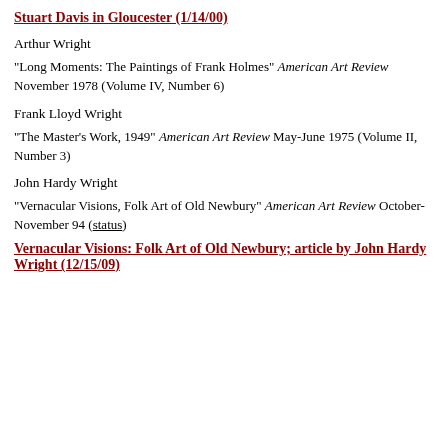Stuart Davis in Gloucester (1/14/00)
Arthur Wright
"Long Moments: The Paintings of Frank Holmes" American Art Review November 1978 (Volume IV, Number 6)
Frank Lloyd Wright
"The Master's Work, 1949" American Art Review May-June 1975 (Volume II, Number 3)
John Hardy Wright
"Vernacular Visions, Folk Art of Old Newbury" American Art Review October-November 94 (status)
Vernacular Visions: Folk Art of Old Newbury; article by John Hardy Wright (12/15/09)